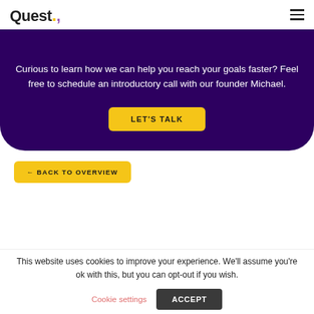Quest.
Curious to learn how we can help you reach your goals faster? Feel free to schedule an introductory call with our founder Michael.
LET'S TALK
← BACK TO OVERVIEW
This website uses cookies to improve your experience. We'll assume you're ok with this, but you can opt-out if you wish.
Cookie settings
ACCEPT